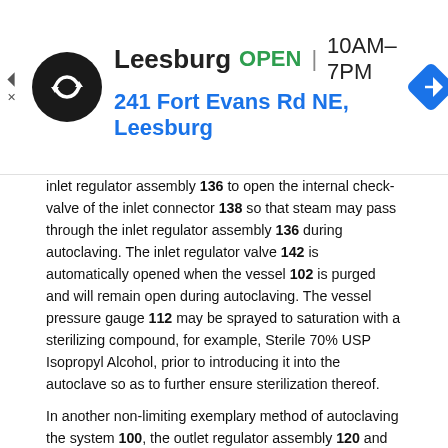[Figure (infographic): Advertisement banner for Leesburg store showing logo, OPEN status, hours 10AM-7PM, address 241 Fort Evans Rd NE Leesburg, and navigation icon]
inlet regulator assembly 136 to open the internal check-valve of the inlet connector 138 so that steam may pass through the inlet regulator assembly 136 during autoclaving. The inlet regulator valve 142 is automatically opened when the vessel 102 is purged and will remain open during autoclaving. The vessel pressure gauge 112 may be sprayed to saturation with a sterilizing compound, for example, Sterile 70% USP Isopropyl Alcohol, prior to introducing it into the autoclave so as to further ensure sterilization thereof.
In another non-limiting exemplary method of autoclaving the system 100, the outlet regulator assembly 120 and the inlet regulator assembly 136 may be removed from the vessel 102 and autoclaved separate from the vessel 102. To autoclave the vessel 102 and the outlet regulator assembly 120 and the inlet regulator assembly 136 separately, autoclave stems (not shown) are installed in the first connection point 114 and the second connection point 116 of the vessel 102 to open the internal check-valves therein so that steam may pass through the first connection point 114 and the second connection point 116 during autoclaving. Autoclave stems 132 and 144 are also installed in the outlet regulator assembly 120 and the inlet regulator assembly